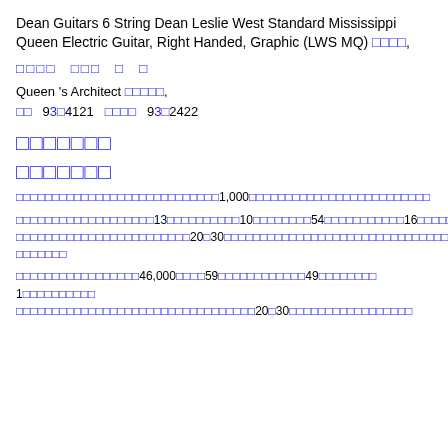Dean Guitars 6 String Dean Leslie West Standard Mississippi Queen Electric Guitar, Right Handed, Graphic (LWS MQ) □□□□,
□□□□  □□□  □  □
Queen 's Architect □□□□□,
□□  93□4121  □□□□  93□2422
□□□□□□□
□□□□□□□
□□□□□□□□□□□□□□□□□□□□□□□□□□□□1,000□□□□□□□□□□□□□□□□□□□□□□□□□
□□□□□□□□□□□□□□□□□□□13□□□□□□□□□□□10□□□□□□□□54□□□□□□□□□□□16□□□□□□□□3.4□□□□□□□□□□□□□□
□□□□□□□□□□□□□□□□□□□□□□□□20□30□□□□□□□□□□□□□□□□□□□□□□□□□□□□□□□□□□□□□□□□
□□□□□□□□□□□□□□□□□46,000□□□□59□□□□□□□□□□□□□49□□□□□□□□□ 1□□□□□□□□□□
□□□□□□□□□□□□□□□□□□□□□□□□□□□□□□□□□20□30□□□□□□□□□□□□□□□□□